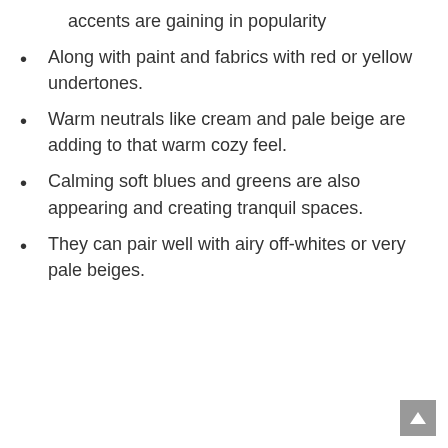accents are gaining in popularity
Along with paint and fabrics with red or yellow undertones.
Warm neutrals like cream and pale beige are adding to that warm cozy feel.
Calming soft blues and greens are also appearing and creating tranquil spaces.
They can pair well with airy off-whites or very pale beiges.